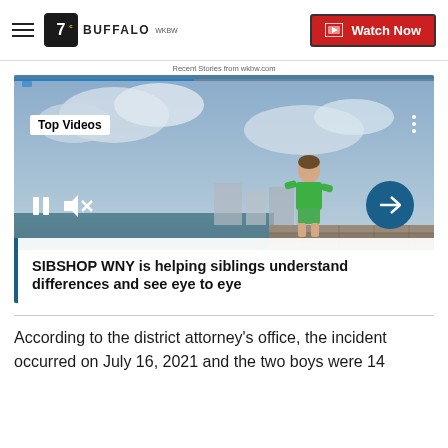7 BUFFALO | Watch Now
Recent Stories from wkbw.com
[Figure (screenshot): Video player showing a boy in a green shirt standing on a stone pier near water. Overlay shows 'Top Videos' label, pause and mute controls, next arrow button, and caption text: 'SIBSHOP WNY is helping siblings understand differences and see eye to eye']
According to the district attorney's office, the incident occurred on July 16, 2021 and the two boys were 14